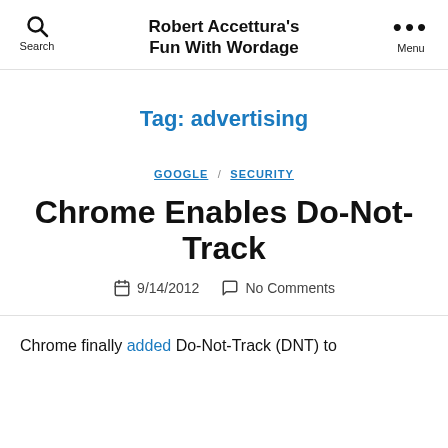Robert Accettura's Fun With Wordage
Tag: advertising
GOOGLE  SECURITY
Chrome Enables Do-Not-Track
9/14/2012   No Comments
Chrome finally added Do-Not-Track (DNT) to